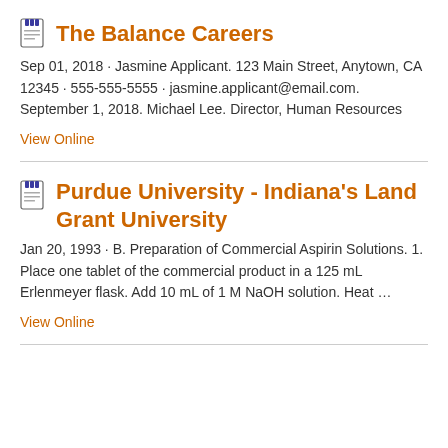The Balance Careers
Sep 01, 2018 · Jasmine Applicant. 123 Main Street, Anytown, CA 12345 · 555-555-5555 · jasmine.applicant@email.com. September 1, 2018. Michael Lee. Director, Human Resources
View Online
Purdue University - Indiana's Land Grant University
Jan 20, 1993 · B. Preparation of Commercial Aspirin Solutions. 1. Place one tablet of the commercial product in a 125 mL Erlenmeyer flask. Add 10 mL of 1 M NaOH solution. Heat …
View Online